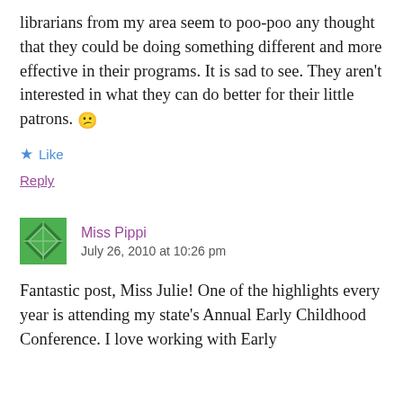librarians from my area seem to poo-poo any thought that they could be doing something different and more effective in their programs. It is sad to see. They aren't interested in what they can do better for their little patrons. 😕
★ Like
Reply
Miss Pippi
July 26, 2010 at 10:26 pm
Fantastic post, Miss Julie! One of the highlights every year is attending my state's Annual Early Childhood Conference. I love working with Early